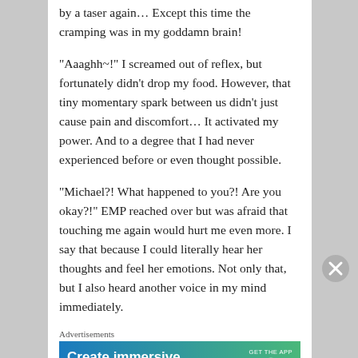by a taser again… Except this time the cramping was in my goddamn brain!
“Aaaghh~!” I screamed out of reflex, but fortunately didn’t drop my food. However, that tiny momentary spark between us didn’t just cause pain and discomfort… It activated my power. And to a degree that I had never experienced before or even thought possible.
“Michael?! What happened to you?! Are you okay?!” EMP reached over but was afraid that touching me again would hurt me even more. I say that because I could literally hear her thoughts and feel her emotions. Not only that, but I also heard another voice in my mind immediately.
Advertisements
[Figure (other): WordPress advertisement banner: 'Create immersive stories' with GET THE APP and WordPress logo]
Advertisements
[Figure (other): Advertisement: 'Turn your blog into a money-making online course.' with arrow button on dark background]